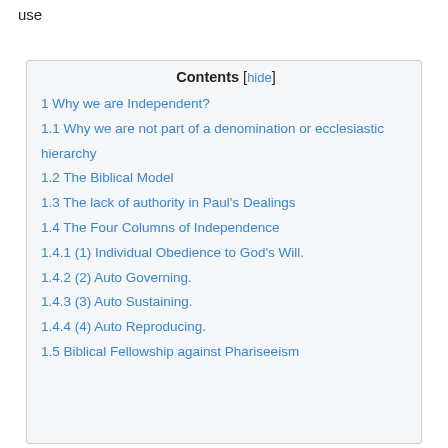use
| Contents [hide] |
| --- |
| 1 Why we are Independent? |
| 1.1 Why we are not part of a denomination or ecclesiastic hierarchy |
| 1.2 The Biblical Model |
| 1.3 The lack of authority in Paul's Dealings |
| 1.4 The Four Columns of Independence |
| 1.4.1 (1) Individual Obedience to God's Will. |
| 1.4.2 (2) Auto Governing. |
| 1.4.3 (3) Auto Sustaining. |
| 1.4.4 (4) Auto Reproducing. |
| 1.5 Biblical Fellowship against Phariseeism |